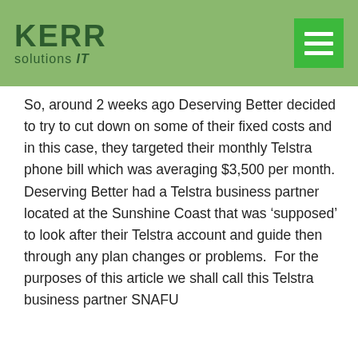[Figure (logo): KERR Solutions IT logo on green background header with hamburger menu button]
So, around 2 weeks ago Deserving Better decided to try to cut down on some of their fixed costs and in this case, they targeted their monthly Telstra phone bill which was averaging $3,500 per month.  Deserving Better had a Telstra business partner located at the Sunshine Coast that was ‘supposed’ to look after their Telstra account and guide then through any plan changes or problems.  For the purposes of this article we shall call this Telstra business partner SNAFU